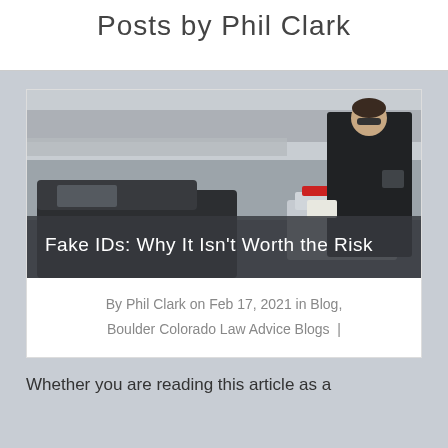Posts by Phil Clark
[Figure (photo): A police officer in a black uniform standing next to a dark car, with a police vehicle with red and blue lights visible in the background under an overpass. Article thumbnail image for 'Fake IDs: Why It Isn't Worth the Risk'.]
Fake IDs: Why It Isn't Worth the Risk
By Phil Clark on Feb 17, 2021 in Blog, Boulder Colorado Law Advice Blogs |
Whether you are reading this article as a